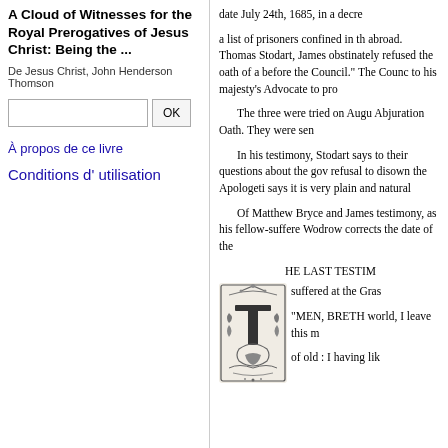A Cloud of Witnesses for the Royal Prerogatives of Jesus Christ: Being the ...
De Jesus Christ, John Henderson Thomson
A propos de ce livre
Conditions d' utilisation
date July 24th, 1685, in a decree
a list of prisoners confined in the abroad. Thomas Stodart, James obstinately refused the oath of a before the Council.” The Counc to his majesty’s Advocate to pro
The three were tried on Augu Abjuration Oath. They were sen
In his testimony, Stodart says to their questions about the gov refusal to disown the Apologeti says it is very plain and natural
Of Matthew Bryce and James testimony, as his fellow-suffere Wodrow corrects the date of the
HE LAST TESTIM
suffered at the Gras
“MEN, BRETH world, I leave this m
of old : I having lik